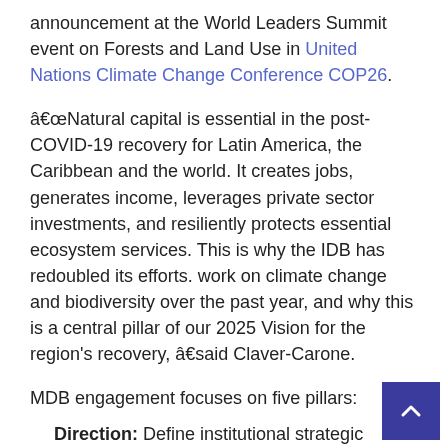announcement at the World Leaders Summit event on Forests and Land Use in United Nations Climate Change Conference COP26.
â€œNatural capital is essential in the post-COVID-19 recovery for Latin America, the Caribbean and the world. It creates jobs, generates income, leverages private sector investments, and resiliently protects essential ecosystem services. This is why the IDB has redoubled its efforts. work on climate change and biodiversity over the past year, and why this is a central pillar of our 2025 Vision for the region's recovery, â€said Claver-Carone.
MDB engagement focuses on five pillars:
Direction: Define institutional strategic approaches to further integrate nature into analyzes, assessments, advice, investments and operations by 2025.